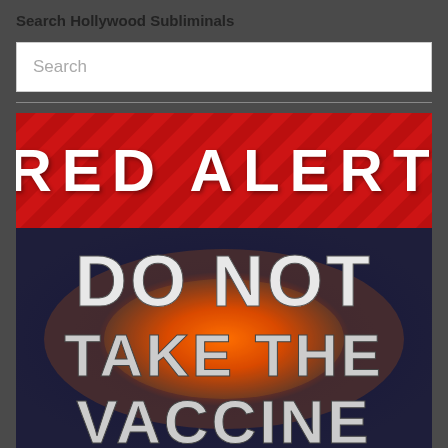Search Hollywood Subliminals
Search
[Figure (illustration): Red Alert banner with diagonal stripe pattern and bold white text reading 'RED ALERT', followed by a dark background image with fiery glow effect and large bold white text reading 'DO NOT TAKE THE VACCINE']